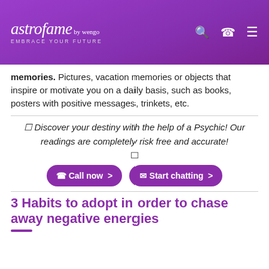astrofame by wengo — embrace your future
memories. Pictures, vacation memories or objects that inspire or motivate you on a daily basis, such as books, posters with positive messages, trinkets, etc.
✦ Discover your destiny with the help of a Psychic! Our readings are completely risk free and accurate! ✦
📞 Call now >    ✉ Start chatting >
3 Habits to adopt in order to chase away negative energies